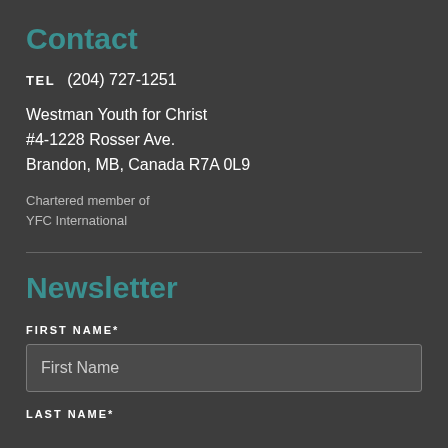Contact
TEL   (204) 727-1251
Westman Youth for Christ
#4-1228 Rosser Ave.
Brandon, MB, Canada R7A 0L9
Chartered member of
YFC International
Newsletter
FIRST NAME*
First Name
LAST NAME*